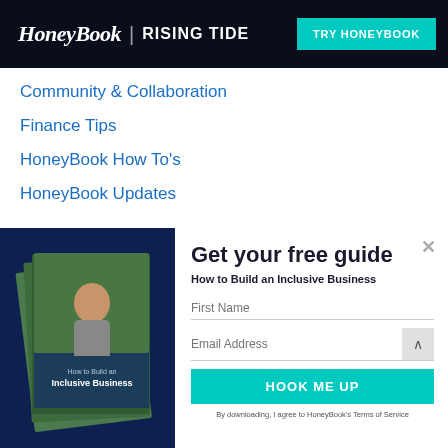HoneyBook | RISING TIDE   TRY HONEYBOOK
Community & Collaboration
Finance Tips
HoneyBook How To's
HoneyBook Updates
Get your free guide
How to Build an Inclusive Business
First Name
Email Address
HOOK ME UP
By downloading, I agree to HoneyBook's Terms of Service